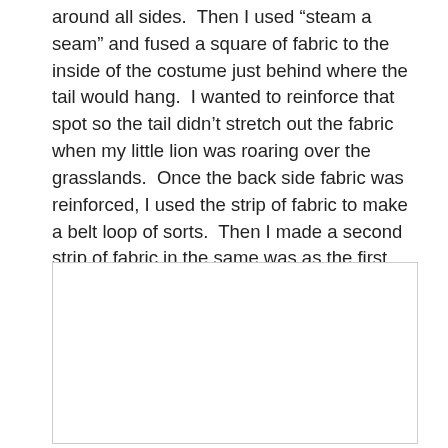around all sides.  Then I used “steam a seam” and fused a square of fabric to the inside of the costume just behind where the tail would hang.  I wanted to reinforce that spot so the tail didn’t stretch out the fabric when my little lion was roaring over the grasslands.  Once the back side fabric was reinforced, I used the strip of fabric to make a belt loop of sorts.  Then I made a second strip of fabric in the same was as the first. After putting velcro on each end of the strip, I hand stitched it to the end of the tail. This strip passes through the loop and Velcro’s to itself.
[Figure (photo): A blank/white image placeholder with a light grey border]